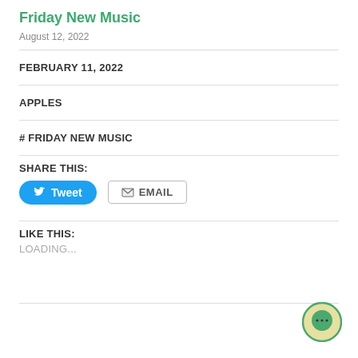Friday New Music
August 12, 2022
FEBRUARY 11, 2022
APPLES
# FRIDAY NEW MUSIC
SHARE THIS:
[Figure (other): Tweet and Email share buttons]
LIKE THIS:
LOADING...
[Figure (other): Chat/comment icon button in bottom right corner]